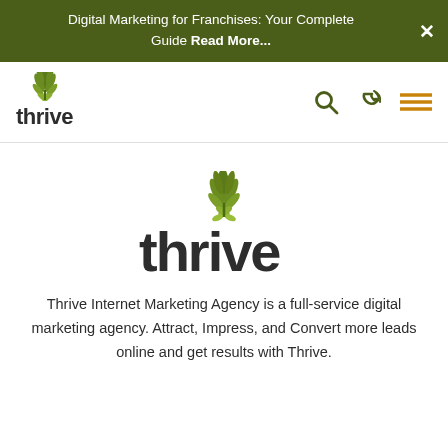Digital Marketing for Franchises: Your Complete Guide Read More...
[Figure (logo): Thrive Internet Marketing Agency logo in navigation bar with leaf icon above text 'thrive']
[Figure (logo): Thrive Internet Marketing Agency large centered logo with green leaf cluster above the word 'thrive' in dark charcoal bold font]
Thrive Internet Marketing Agency is a full-service digital marketing agency. Attract, Impress, and Convert more leads online and get results with Thrive.